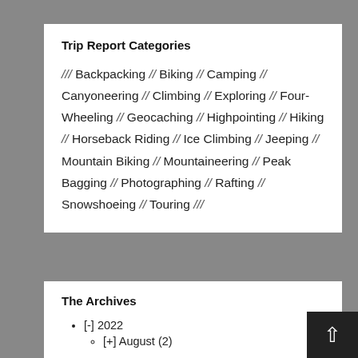Trip Report Categories
/// Backpacking // Biking // Camping // Canyoneering // Climbing // Exploring // Four-Wheeling // Geocaching // Highpointing // Hiking // Horseback Riding // Ice Climbing // Jeeping // Mountain Biking // Mountaineering // Peak Bagging // Photographing // Rafting // Snowshoeing // Touring ///
The Archives
[-] 2022
[+] August (2)